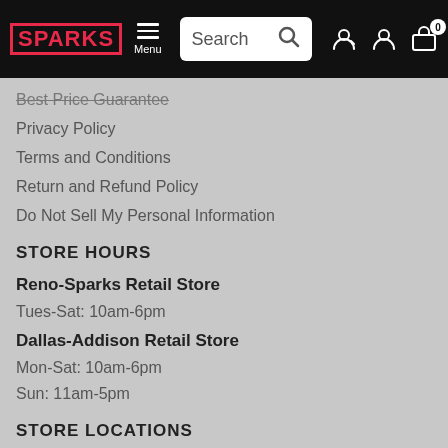SPARKS Menu | Search | Account | Cart (0)
Best Price Guarantee
Privacy Policy
Terms and Conditions
Return and Refund Policy
Do Not Sell My Personal Information
STORE HOURS
Reno-Sparks Retail Store
Tues-Sat: 10am-6pm
Dallas-Addison Retail Store
Mon-Sat: 10am-6pm
Sun: 11am-5pm
STORE LOCATIONS